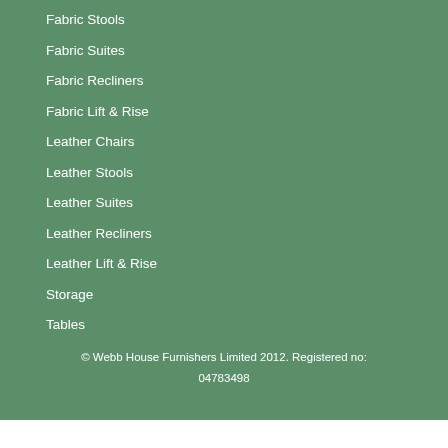Fabric Stools
Fabric Suites
Fabric Recliners
Fabric Lift & Rise
Leather Chairs
Leather Stools
Leather Suites
Leather Recliners
Leather Lift & Rise
Storage
Tables
© Webb House Furnishers Limited 2012. Registered no: 04783498